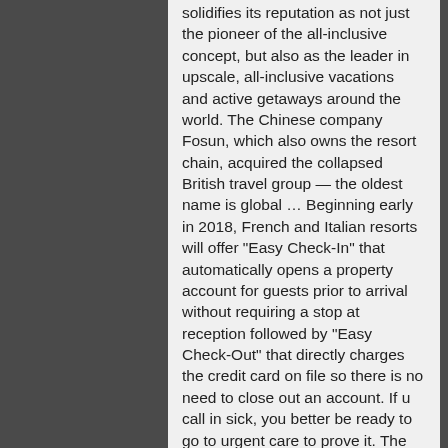solidifies its reputation as not just the pioneer of the all-inclusive concept, but also as the leader in upscale, all-inclusive vacations and active getaways around the world. The Chinese company Fosun, which also owns the resort chain, acquired the collapsed British travel group — the oldest name is global …  Beginning early in 2018, French and Italian resorts will offer "Easy Check-In" that automatically opens a property account for guests prior to arrival without requiring a stop at reception followed by "Easy Check-Out" that directly charges the credit card on file so there is no need to close out an account. If u call in sick, you better be ready to go to urgent care to prove it. The resort will open a new scuba-diving center and Mini Club to promote family-friendly travel activities, while the overwater suites at the Manta Exclusive Collection space will undergo a refresh. For more information, visit www.clubmed.us, call 1-800-Club-Med (1-800-258-2633), or contact a preferred travel professional. TECHNOLOGY UPDATES Club Med is a world recognized symbol for seamless and personalized vacation experiences that make bookings, check-ins and checkouts a breeze. Seamless. Each Club Med...